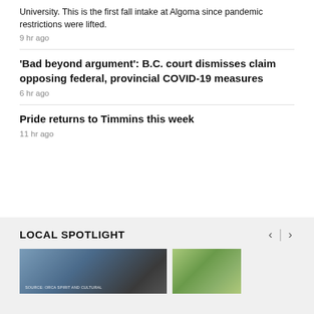University. This is the first fall intake at Algoma since pandemic restrictions were lifted.
9 hr ago
'Bad beyond argument': B.C. court dismisses claim opposing federal, provincial COVID-19 measures
6 hr ago
Pride returns to Timmins this week
11 hr ago
LOCAL SPOTLIGHT
[Figure (photo): Thumbnail image of a building with blue sky, SOURCE: ORCA SPIRIT AND CULTURAL label visible]
[Figure (photo): Thumbnail image of an aerial view of a road or pathway]